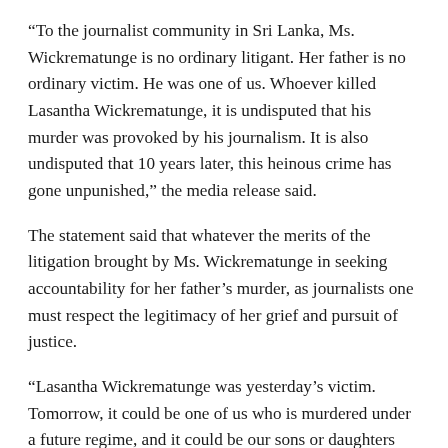“To the journalist community in Sri Lanka, Ms. Wickrematunge is no ordinary litigant. Her father is no ordinary victim. He was one of us. Whoever killed Lasantha Wickrematunge, it is undisputed that his murder was provoked by his journalism. It is also undisputed that 10 years later, this heinous crime has gone unpunished,” the media release said.
The statement said that whatever the merits of the litigation brought by Ms. Wickrematunge in seeking accountability for her father’s murder, as journalists one must respect the legitimacy of her grief and pursuit of justice.
“Lasantha Wickrematunge was yesterday’s victim. Tomorrow, it could be one of us who is murdered under a future regime, and it could be our sons or daughters who fight for justice on our behalf. We need not agree with Ms. Wickrematunge’s views, but as members of a fraternity of professionals who